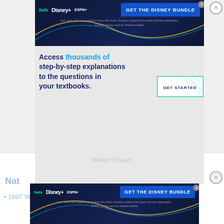[Figure (screenshot): Disney Bundle advertisement banner at top of page with Hulu, Disney+, ESPN+ logos and GET THE DISNEY BUNDLE button]
Access thousands of step-by-step explanations to the questions in your textbooks.
[Figure (screenshot): GET STARTED button with teal border and diagonal stripe pattern]
Better Essays
Nat
1697 Words
[Figure (screenshot): Disney Bundle advertisement banner at bottom with Hulu, Disney+, ESPN+ logos and GET THE DISNEY BUNDLE button. Incl. Hulu (ad-supported) or Hulu (No Ads). Access content from each service separately. ©2021 Disney and its related entities]